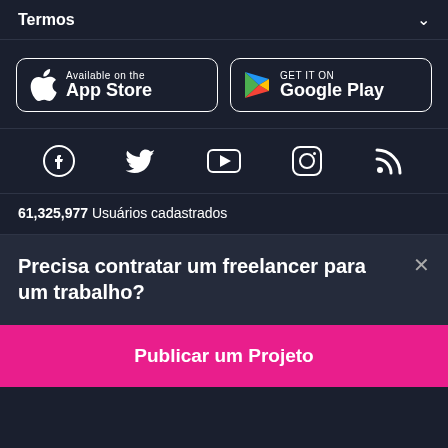Termos
[Figure (logo): App Store and Google Play store download buttons]
[Figure (infographic): Social media icons: Facebook, Twitter, YouTube, Instagram, RSS]
61,325,977 Usuários cadastrados
Precisa contratar um freelancer para um trabalho?
Publicar um Projeto